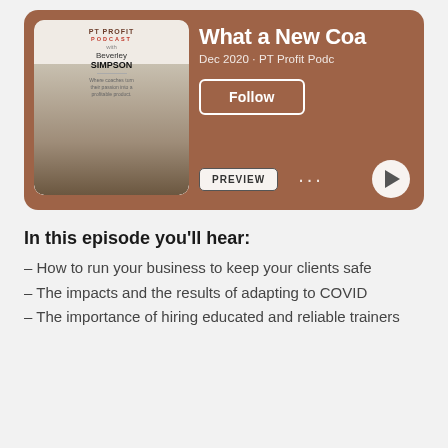[Figure (screenshot): Podcast app card showing PT Profit Podcast episode with Beverley Simpson cover art, title 'What a New Coa...', date Dec 2020, PT Profit Podc... subtitle, Follow button, PREVIEW button, dots menu, and play button on brown background]
In this episode you'll hear:
– How to run your business to keep your clients safe
– The impacts and the results of adapting to COVID
– The importance of hiring educated and reliable trainers